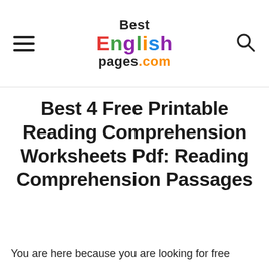Best English pages.com
Best 4 Free Printable Reading Comprehension Worksheets Pdf: Reading Comprehension Passages
You are here because you are looking for free